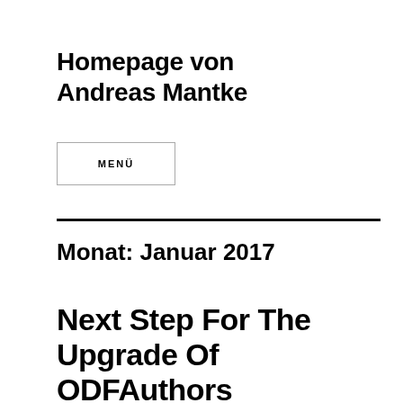Homepage von Andreas Mantke
MENÜ
Monat: Januar 2017
Next Step For The Upgrade Of ODFAuthors